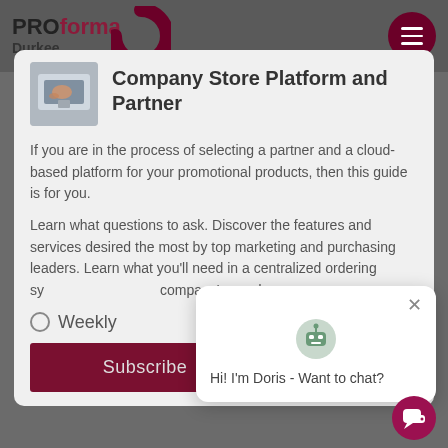[Figure (logo): Proforma Durkee logo with dark maroon circle and text]
Company Store Platform and Partner
If you are in the process of selecting a partner and a cloud-based platform for your promotional products, then this guide is for you.
Learn what questions to ask. Discover the features and services desired the most by top marketing and purchasing leaders. Learn what you'll need in a centralized ordering system to meet your company's needs.
Weekly
Subscribe
[Figure (screenshot): Chat popup with robot icon Doris saying Hi! I'm Doris - Want to chat?]